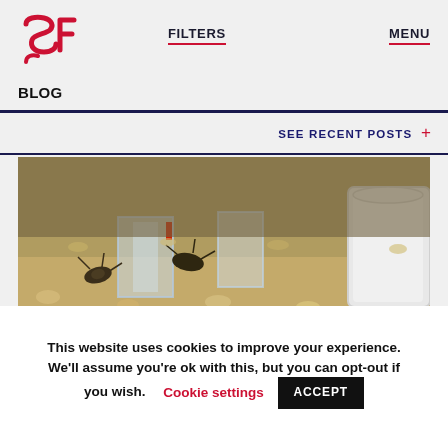SF logo | FILTERS | MENU
BLOG
SEE RECENT POSTS +
[Figure (photo): Close-up photograph of insects (crickets/cockroaches) on sandy/grainy substrate with plastic containers and cardboard tubes, likely an insect farming or lab environment.]
If you are working in climate science, food insecurity, global economics, supply chains, or related fields, we'd love to talk to you. Do drop us a line
This website uses cookies to improve your experience. We'll assume you're ok with this, but you can opt-out if you wish. Cookie settings ACCEPT